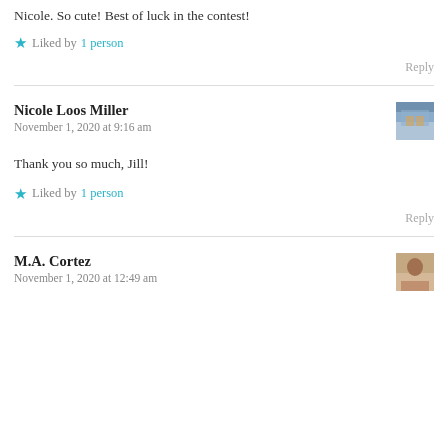Nicole. So cute! Best of luck in the contest!
★ Liked by 1 person
Reply
Nicole Loos Miller
November 1, 2020 at 9:16 am
Thank you so much, Jill!
★ Liked by 1 person
Reply
M.A. Cortez
November 1, 2020 at 12:49 am